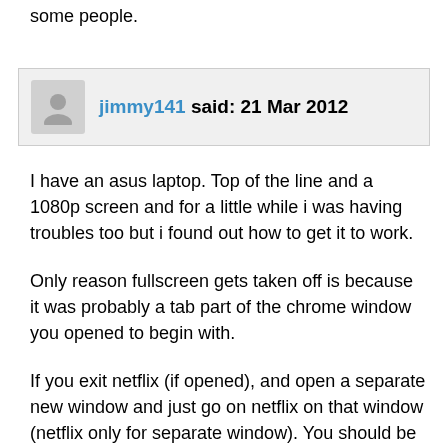some people.
jimmy141 said: 21 Mar 2012
I have an asus laptop. Top of the line and a 1080p screen and for a little while i was having troubles too but i found out how to get it to work.
Only reason fullscreen gets taken off is because it was probably a tab part of the chrome window you opened to begin with.
If you exit netflix (if opened), and open a separate new window and just go on netflix on that window (netflix only for separate window). You should be able to do fullscreen